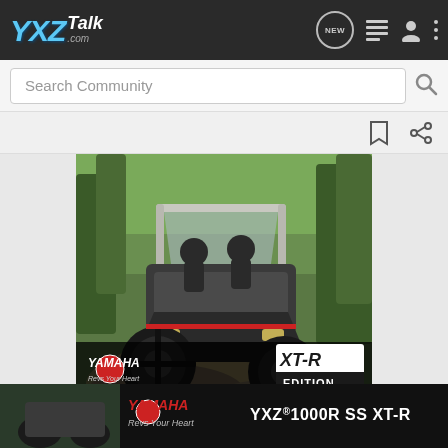YXZ Talk .com — navigation bar with search
[Figure (screenshot): YXZTalk.com community forum website screenshot showing navigation bar with logo, search bar, and a Yamaha YXZ1000R SS XT-R advertisement banner featuring a UTV on a rocky trail with forest background]
YAMAHA — Revs Your Heart
YXZ®1000R SS XT-R
LEARN MORE
YAMAHA — Revs Your Heart — YXZ®1000R SS XT-R